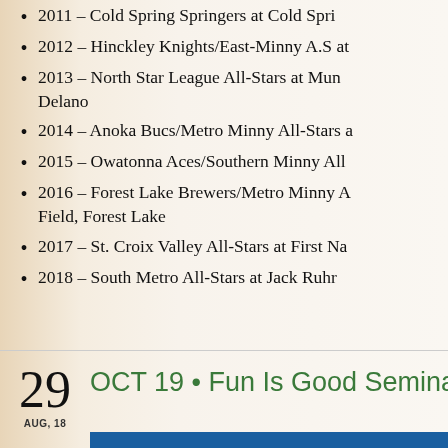2011 – Cold Spring Springers at Cold Spr...
2012 – Hinckley Knights/East-Minny A.S at...
2013 – North Star League All-Stars at Mun... Delano
2014 – Anoka Bucs/Metro Minny All-Stars a...
2015 – Owatonna Aces/Southern Minny All...
2016 – Forest Lake Brewers/Metro Minny A... Field, Forest Lake
2017 – St. Croix Valley All-Stars at First Na...
2018 – South Metro All-Stars at Jack Ruhr...
29
AUG, 18
OCT 19 • Fun Is Good Seminar!